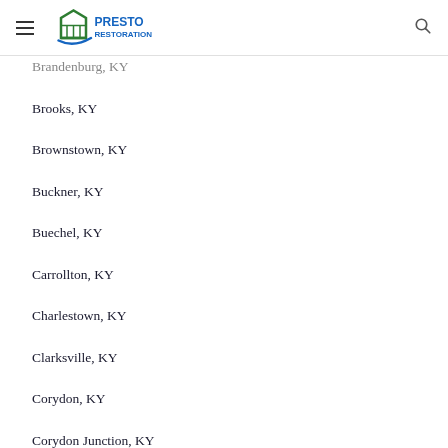Presto Restoration
Brandenburg, KY
Brooks, KY
Brownstown, KY
Buckner, KY
Buechel, KY
Carrollton, KY
Charlestown, KY
Clarksville, KY
Corydon, KY
Corydon Junction, KY
Crestwood, KY
Eastwood, KY